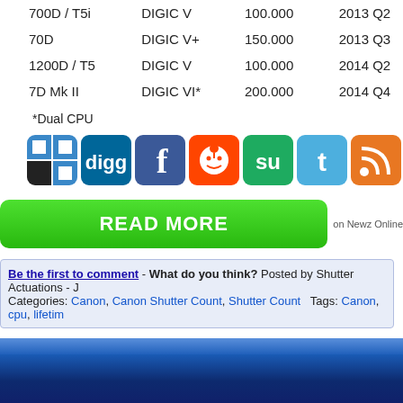| Model | Processor | Shutter Count | Release |
| --- | --- | --- | --- |
| 700D / T5i | DIGIC V | 100.000 | 2013 Q2 |
| 70D | DIGIC V+ | 150.000 | 2013 Q3 |
| 1200D / T5 | DIGIC V | 100.000 | 2014 Q2 |
| 7D Mk II | DIGIC VI* | 200.000 | 2014 Q4 |
*Dual CPU
[Figure (infographic): Social sharing icons: Delicious, Digg, Facebook, Reddit, StumbleUpon, Twitter, RSS Feed]
[Figure (infographic): Green READ MORE button with 'on Newz Online' text]
Be the first to comment - What do you think? Posted by Shutter Actuations - J
Categories: Canon, Canon Shutter Count, Shutter Count   Tags: Canon, cpu, lifetim